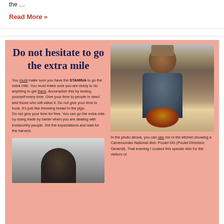the …
Read More »
Do not hesitate to go the extra mile
You must make sure you have the STAMINA to go the extra mile. You must make sure you are ready to do anything to get there. Accomplish this by testing yourself every time. Give your time to people in need and those who will value it. Do not give your time to fools, it's just like throwing bread to the pigs. Do not give your time for free. You can go the extra mile by doing trade by barter when you are dealing with trustworthy people. Set the expectations and wait for the harvest.
[Figure (photo): Man in kitchen wearing apron and cap, smiling while presenting a pot of Cameroonian dish (Poulet DG) on a stove.]
[Figure (photo): Black and white photo of person from behind.]
In the photo above, you can see me in the kitchen showing a Cameroonian National dish: Poulet DG (Poulet Directeur General). That evening I cooked this special dish for the visitors of